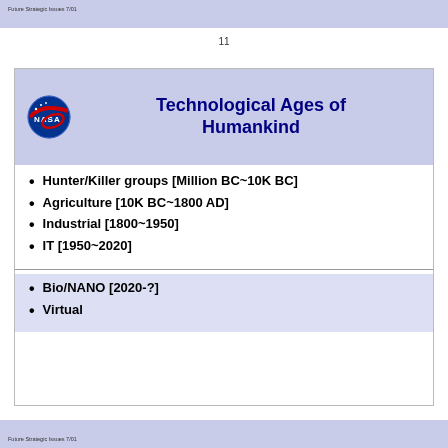Future Strategic Issues 7/01
11
Technological Ages of Humankind
Hunter/Killer groups [Million BC~10K BC]
Agriculture [10K BC~1800 AD]
Industrial [1800~1950]
IT [1950~2020]
Bio/NANO [2020-?]
Virtual
Future Strategic Issues 7/01